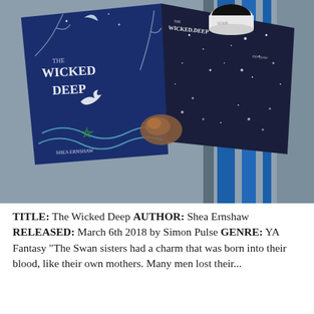[Figure (photo): Flat lay photo of 'The Wicked Deep' book by Shea Ernshaw — a dark blue hardcover with moon, bird, and wave illustrations — alongside its dark navy box/slipcase featuring stars and a crescent moon, a crystal/geode, and a white mug with coffee, all laid on a grey and blue striped blanket.]
TITLE: The Wicked Deep AUTHOR: Shea Ernshaw RELEASED: March 6th 2018 by Simon Pulse GENRE: YA Fantasy "The Swan sisters had a charm that was born into their blood, like their own mothers. Many men lost their..."